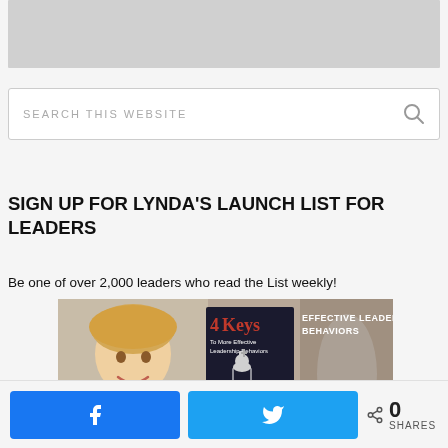[Figure (photo): Cropped top portion of a webpage header image, gray/white background]
SEARCH THIS WEBSITE
SIGN UP FOR LYNDA'S LAUNCH LIST FOR LEADERS
Be one of over 2,000 leaders who read the List weekly!
[Figure (photo): Promotional image for Lynda's 4 Keys to Effective Leadership Behaviors book, showing a blonde woman, the book cover, and a chess king piece]
0 SHARES